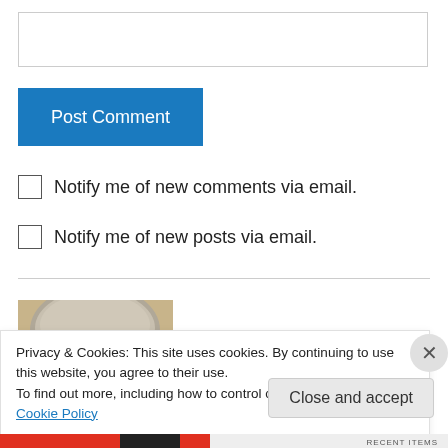Post Comment
Notify me of new comments via email.
Notify me of new posts via email.
[Figure (photo): Photo showing the top of a person's head with grey/blonde hair against a tan background]
Privacy & Cookies: This site uses cookies. By continuing to use this website, you agree to their use.
To find out more, including how to control cookies, see here: Cookie Policy
Close and accept